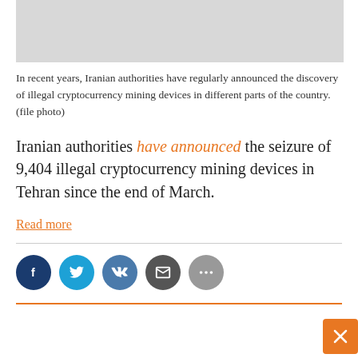[Figure (photo): Gray placeholder image representing a file photo of cryptocurrency mining devices]
In recent years, Iranian authorities have regularly announced the discovery of illegal cryptocurrency mining devices in different parts of the country. (file photo)
Iranian authorities have announced the seizure of 9,404 illegal cryptocurrency mining devices in Tehran since the end of March.
Read more
Social share buttons: Facebook, Twitter, VK, Email, More